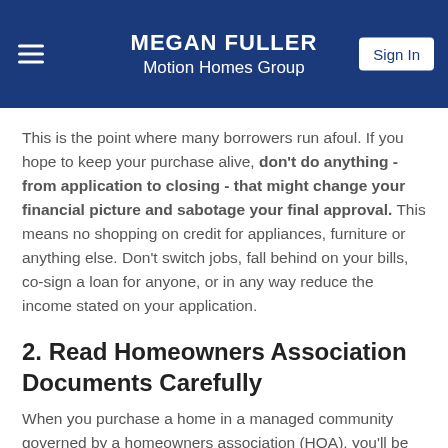MEGAN FULLER
Motion Homes Group
This is the point where many borrowers run afoul. If you hope to keep your purchase alive, don't do anything - from application to closing - that might change your financial picture and sabotage your final approval. This means no shopping on credit for appliances, furniture or anything else. Don't switch jobs, fall behind on your bills, co-sign a loan for anyone, or in any way reduce the income stated on your application.
2. Read Homeowners Association Documents Carefully
When you purchase a home in a managed community governed by a homeowners association (HOA), you'll be given a mountain of paperwork to read and